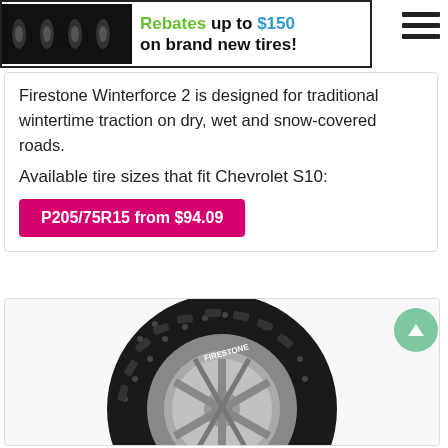[Figure (infographic): Advertisement banner showing four black rims/tires on left, with text 'Rebates up to $150 on brand new tires!' and a hamburger menu icon on the right]
Firestone Winterforce 2 is designed for traditional wintertime traction on dry, wet and snow-covered roads.
Available tire sizes that fit Chevrolet S10:
P205/75R15 from $94.09
[Figure (photo): Close-up photo of a studded winter tire (Firestone Winterforce) mounted on a silver alloy wheel, showing deep tread pattern with studs]